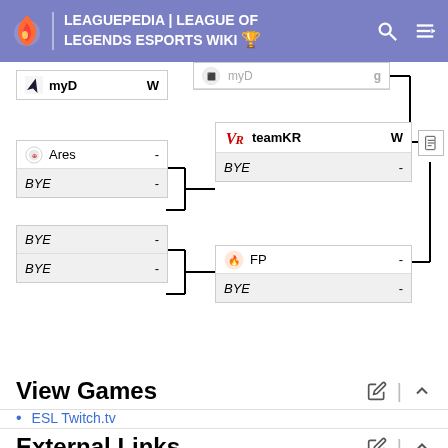LEAGUEPEDIA | LEAGUE OF LEGENDS ESPORTS WIKI
[Figure (flowchart): Tournament bracket showing match results: myD (W), Ares (-) vs BYE (-) leading to teamKR (W) vs BYE (-); BYE (-) vs BYE (-) leading to FP (-) vs BYE (-)]
View Games
ESL Twitch.tv
External Links